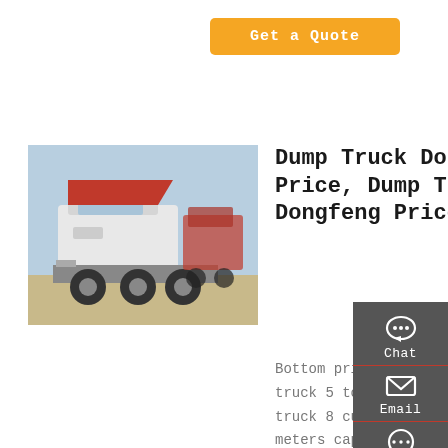Get a Quote
[Figure (photo): White heavy duty Dongfeng dump truck / tractor head with red cab-over engine hood open, parked outdoors with another red truck visible in background]
Dump Truck Dongfeng Price, Dump Truck Dongfeng Price
Bottom price dongfeng 6 wheeler truck 5 ton dumper 8 ton dump truck 8 cubic meters 18-25 cubic meters capacity, dump truck, also called dumper truck, tipper truck, dump tippers,